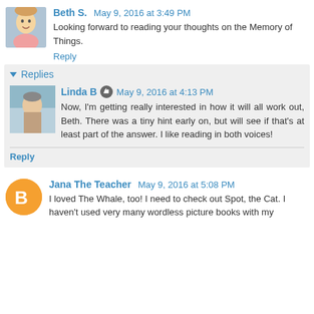Beth S.  May 9, 2016 at 3:49 PM
Looking forward to reading your thoughts on the Memory of Things.
Reply
Replies
Linda B  May 9, 2016 at 4:13 PM
Now, I'm getting really interested in how it will all work out, Beth. There was a tiny hint early on, but will see if that's at least part of the answer. I like reading in both voices!
Reply
Jana The Teacher  May 9, 2016 at 5:08 PM
I loved The Whale, too! I need to check out Spot, the Cat. I haven't used very many wordless picture books with my